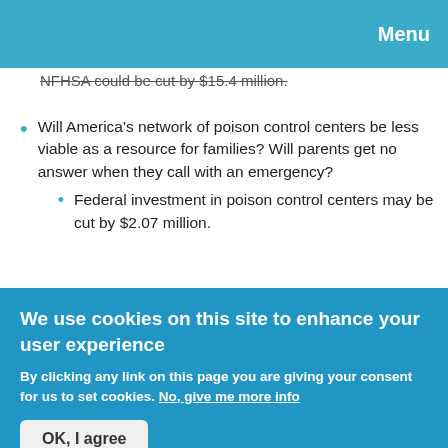Menu
NFHSA could be cut by $15.4 million.
Will America's network of poison control centers be less viable as a resource for families? Will parents get no answer when they call with an emergency?
Federal investment in poison control centers may be cut by $2.07 million.
TAKE ACTION
What can you do?
We use cookies on this site to enhance your user experience
By clicking any link on this page you are giving your consent for us to set cookies. No, give me more info
OK, I agree